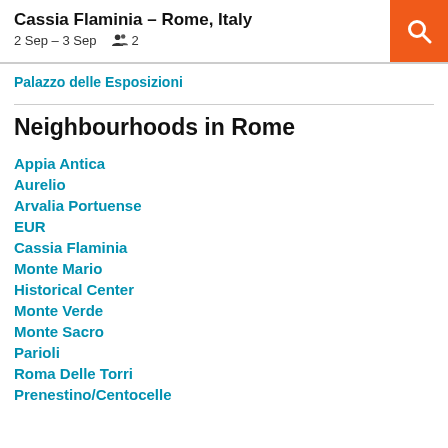Cassia Flaminia – Rome, Italy
2 Sep – 3 Sep   👥  2
Palazzo delle Esposizioni
Neighbourhoods in Rome
Appia Antica
Aurelio
Arvalia Portuense
EUR
Cassia Flaminia
Monte Mario
Historical Center
Monte Verde
Monte Sacro
Parioli
Roma Delle Torri
Prenestino/Centocelle